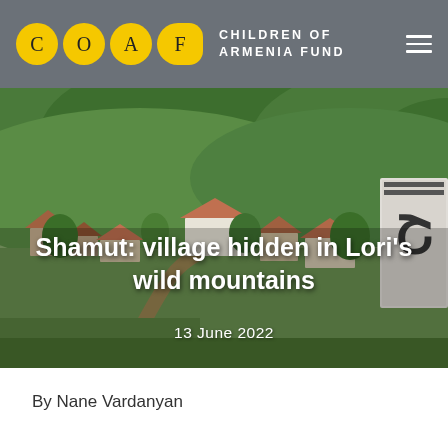COAF — CHILDREN OF ARMENIA FUND
[Figure (photo): Aerial/hillside view of Shamut village in Lori region of Armenia, showing village houses, dirt road, lush green forested hills, and a partially visible Armenian road sign in the foreground right.]
Shamut: village hidden in Lori's wild mountains
13 June 2022
By Nane Vardanyan